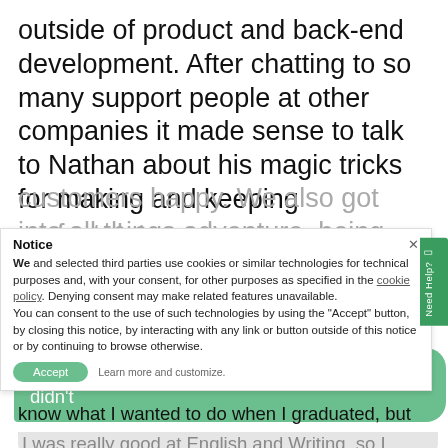outside of product and back-end development. After chatting to so many support people at other companies it made sense to talk to Nathan about his magic tricks for making and keeping
customers happy. We also got into all things adventure, being personal, and on that note – the perfect date
Notice
We and selected third parties use cookies or similar technologies for technical purposes and, with your consent, for other purposes as specified in the cookie policy. Denying consent may make related features unavailable.
You can consent to the use of such technologies by using the "Accept" button, by closing this notice, by interacting with any link or button outside of this notice or by continuing to browse otherwise.
What's your background? Where and how did you grow up?
I grew up in Melbourne in an Italian family. I didn't know what I wanted to do when I graduated, but I was really good at English and Writing, so I
Learn more and customize.